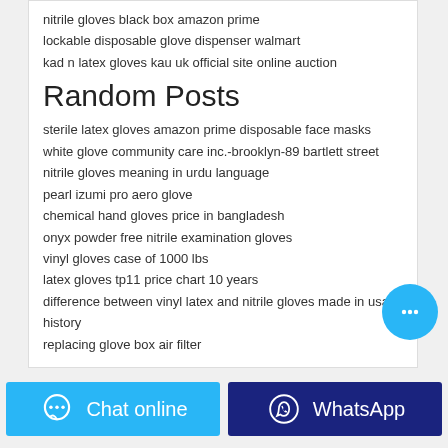nitrile gloves black box amazon prime
lockable disposable glove dispenser walmart
kad n latex gloves kau uk official site online auction
Random Posts
sterile latex gloves amazon prime disposable face masks
white glove community care inc.-brooklyn-89 bartlett street
nitrile gloves meaning in urdu language
pearl izumi pro aero glove
chemical hand gloves price in bangladesh
onyx powder free nitrile examination gloves
vinyl gloves case of 1000 lbs
latex gloves tp11 price chart 10 years
difference between vinyl latex and nitrile gloves made in usa history
replacing glove box air filter
Chat online
WhatsApp